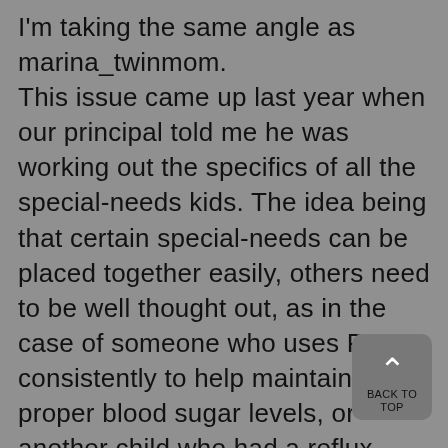I'm taking the same angle as marina_twinmom. This issue came up last year when our principal told me he was working out the specifics of all the special-needs kids. The idea being that certain special-needs can be placed together easily, others need to be well thought out, as in the case of someone who uses PB consistently to help maintain proper blood sugar levels, or another child who had a reflux problem and couldn't keep food down. Our principal definitely didn't want to place Ryan in the room with that particular child. If you're lucky to have a medium to large